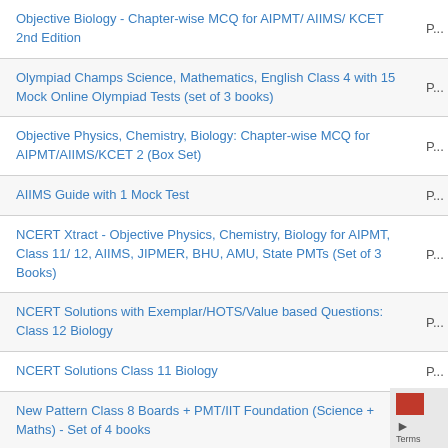| Title | P |
| --- | --- |
| Objective Biology - Chapter-wise MCQ for AIPMT/ AIIMS/ KCET 2nd Edition | P... |
| Olympiad Champs Science, Mathematics, English Class 4 with 15 Mock Online Olympiad Tests (set of 3 books) | P... |
| Objective Physics, Chemistry, Biology: Chapter-wise MCQ for AIPMT/AIIMS/KCET 2 (Box Set) | P... |
| AIIMS Guide with 1 Mock Test | P... |
| NCERT Xtract - Objective Physics, Chemistry, Biology for AIPMT, Class 11/ 12, AIIMS, JIPMER, BHU, AMU, State PMTs (Set of 3 Books) | P... |
| NCERT Solutions with Exemplar/HOTS/Value based Questions: Class 12 Biology | P... |
| NCERT Solutions Class 11 Biology | P... |
| New Pattern Class 8 Boards + PMT/IIT Foundation (Science + Maths) - Set of 4 books | P... |